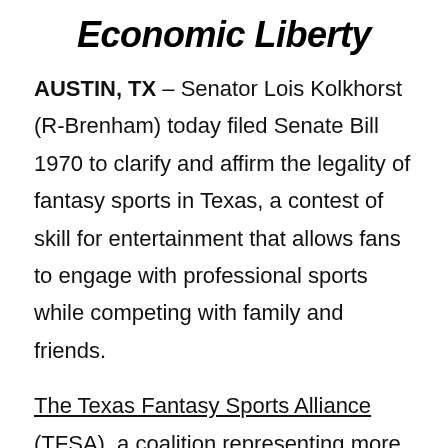Economic Liberty
AUSTIN, TX – Senator Lois Kolkhorst (R-Brenham) today filed Senate Bill 1970 to clarify and affirm the legality of fantasy sports in Texas, a contest of skill for entertainment that allows fans to engage with professional sports while competing with family and friends.
The Texas Fantasy Sports Alliance (TFSA), a coalition representing more than four